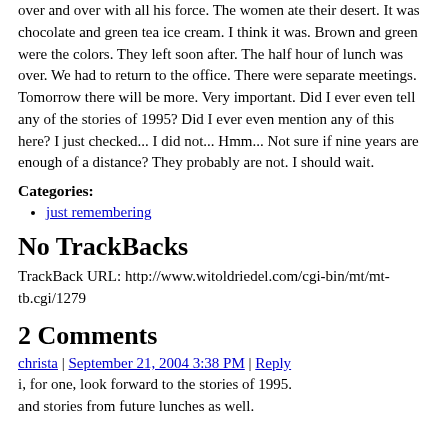over and over with all his force. The women ate their desert. It was chocolate and green tea ice cream. I think it was. Brown and green were the colors. They left soon after. The half hour of lunch was over. We had to return to the office. There were separate meetings. Tomorrow there will be more. Very important. Did I ever even tell any of the stories of 1995? Did I ever even mention any of this here? I just checked... I did not... Hmm... Not sure if nine years are enough of a distance? They probably are not. I should wait.
Categories:
just remembering
No TrackBacks
TrackBack URL: http://www.witoldriedel.com/cgi-bin/mt/mt-tb.cgi/1279
2 Comments
christa | September 21, 2004 3:38 PM | Reply
i, for one, look forward to the stories of 1995. and stories from future lunches as well.